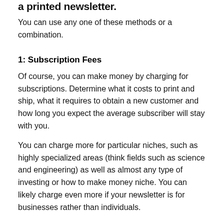a printed newsletter.
You can use any one of these methods or a combination.
1: Subscription Fees
Of course, you can make money by charging for subscriptions. Determine what it costs to print and ship, what it requires to obtain a new customer and how long you expect the average subscriber will stay with you.
You can charge more for particular niches, such as highly specialized areas (think fields such as science and engineering) as well as almost any type of investing or how to make money niche. You can likely charge even more if your newsletter is for businesses rather than individuals.